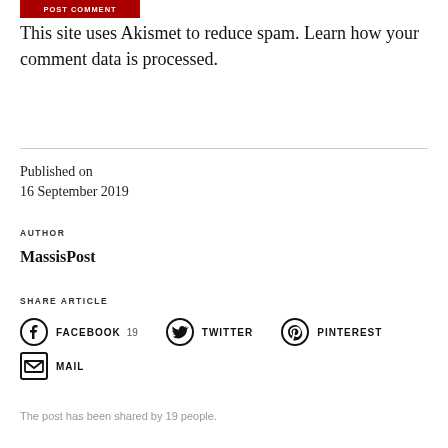[Figure (other): POST COMMENT button in red]
This site uses Akismet to reduce spam. Learn how your comment data is processed.
Published on
16 September 2019
AUTHOR
MassisPost
SHARE ARTICLE
FACEBOOK 19   TWITTER   PINTEREST   MAIL
The post has been shared by 19 people.